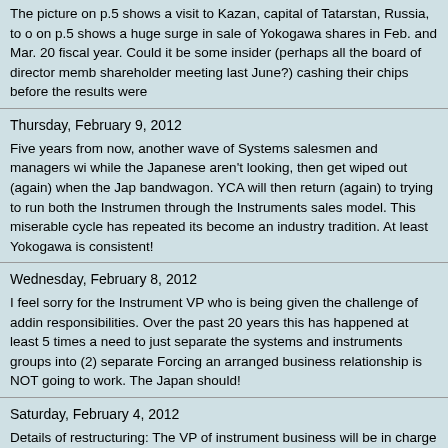The picture on p.5 shows a visit to Kazan, capital of Tatarstan, Russia, to o on p.5 shows a huge surge in sale of Yokogawa shares in Feb. and Mar. 20 fiscal year. Could it be some insider (perhaps all the board of director memb shareholder meeting last June?) cashing their chips before the results were
Thursday, February 9, 2012
Five years from now, another wave of Systems salesmen and managers wi while the Japanese aren't looking, then get wiped out (again) when the Jap bandwagon. YCA will then return (again) to trying to run both the Instrumen through the Instruments sales model. This miserable cycle has repeated its become an industry tradition. At least Yokogawa is consistent!
Wednesday, February 8, 2012
I feel sorry for the Instrument VP who is being given the challenge of addin responsibilities. Over the past 20 years this has happened at least 5 times a need to just separate the systems and instruments groups into (2) separate Forcing an arranged business relationship is NOT going to work. The Japan should!
Saturday, February 4, 2012
Details of restructuring: The VP of instrument business will be in charge of s salesman are mostly gone, he will now try to sell DCS system using distribu
Monday, January 30, 2012